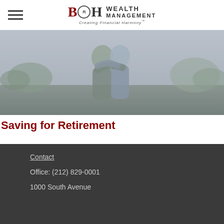B&H Wealth Management - Creating Financial Harmony
[Figure (photo): Two people hugging outdoors, muted/desaturated color tones, trees and road in background]
Saving for Retirement
This calculator can help you estimate how much you may need to save for retirement.
Contact | Office: (212) 829-0001 | 1000 South Avenue